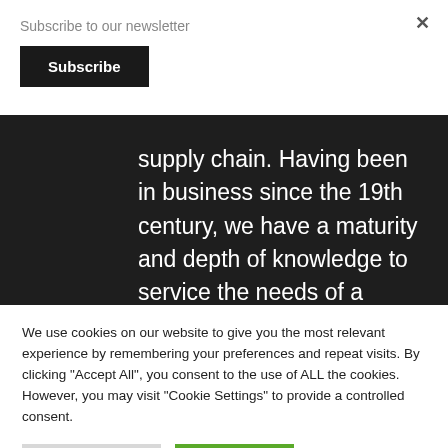Subscribe to our newsletter
Subscribe
supply chain. Having been in business since the 19th century, we have a maturity and depth of knowledge to service the needs of a modern construction industry.
We use cookies on our website to give you the most relevant experience by remembering your preferences and repeat visits. By clicking "Accept All", you consent to the use of ALL the cookies. However, you may visit "Cookie Settings" to provide a controlled consent.
Cookie Settings
Accept All